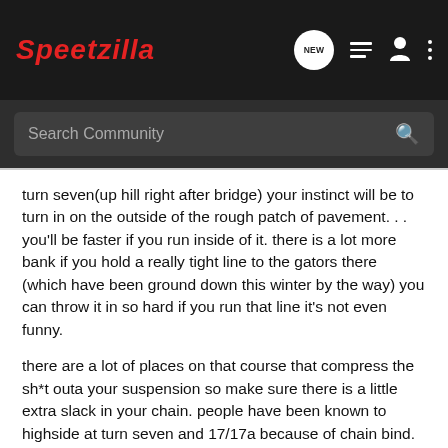Speedzilla — NEW (navigation icons)
Search Community
turn seven(up hill right after bridge) your instinct will be to turn in on the outside of the rough patch of pavement. . . you'll be faster if you run inside of it. there is a lot more bank if you hold a really tight line to the gators there (which have been ground down this winter by the way) you can throw it in so hard if you run that line it's not even funny.
there are a lot of places on that course that compress the sh*t outa your suspension so make sure there is a little extra slack in your chain. people have been known to highside at turn seven and 17/17a because of chain bind.
the mid straight kink is what separates the men from the boys. apex that sh*t like its a full blown turn and you can take it